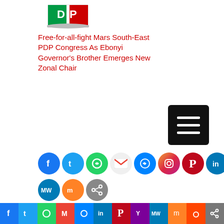[Figure (logo): PDP party logo - book with green, white, red colors]
Free-for-all-fight Mars South-East PDP Congress As Ebonyi Governor's Brother Emerges New Zonal Chair
[Figure (other): Dark menu/hamburger button icon]
[Figure (other): Social sharing icons row 1: Facebook, Twitter, WhatsApp, Gmail, Messenger, Instagram, Pinterest, LinkedIn, Reddit]
[Figure (other): Social sharing icons row 2: MeWe, Mix, Share]
Short URL: https://www.africanexaminer.com/?p=51442
[Figure (other): Bottom social share bar: Facebook, Twitter, WhatsApp, Gmail, Messenger, LinkedIn, Pinterest, Yummly, MeWe, Mix, Reddit, Share]